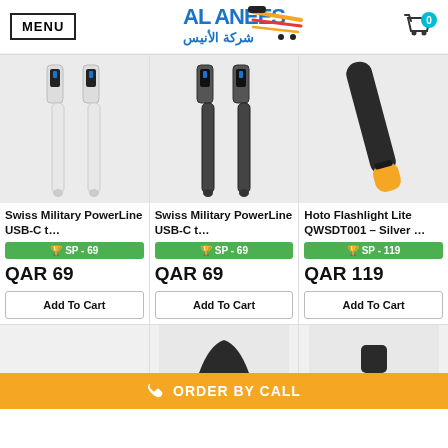MENU | AL ANEES شركة الأنيس
[Figure (photo): Swiss Military PowerLine USB-C cable, white, two cables shown with LED display]
Swiss Military PowerLine USB-C t…
🏆 SP - 69
QAR 69
Add To Cart
[Figure (photo): Swiss Military PowerLine USB-C cable, black braided, two cables shown with LED display]
Swiss Military PowerLine USB-C t…
🏆 SP - 69
QAR 69
Add To Cart
[Figure (photo): Hoto Flashlight Lite QWSDT001, black body with yellow tip]
Hoto Flashlight Lite QWSDT001 – Silver …
🏆 SP - 119
QAR 119
Add To Cart
ORDER BY CALL